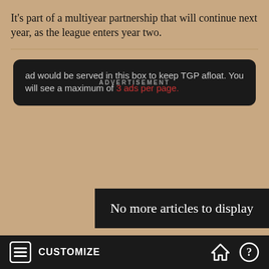It's part of a multiyear partnership that will continue next year, as the league enters year two.
[Figure (other): Advertisement box with dark background. Text reads: 'ad would be served in this box to keep TGP afloat. You will see a maximum of 3 ads per page.' The words '3 ads per page.' are in red. 'ADVERTISEMENT' label overlaid in semi-transparent white text.]
No more articles to display
CUSTOMIZE